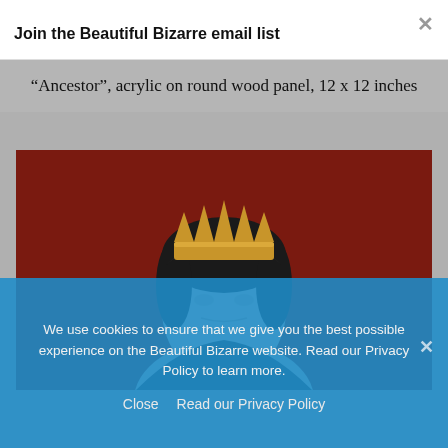Join the Beautiful Bizarre email list
“Ancestor”, acrylic on round wood panel, 12 x 12 inches
[Figure (illustration): Painting of a pale-faced figure with dark hair wearing a gold crown against a dark red background. The figure appears regal, depicted from shoulders up on a round wood panel.]
We use cookies to ensure that we give you the best possible experience on the Beautiful Bizarre website. Read our Privacy Policy to learn more.
Close   Read our Privacy Policy